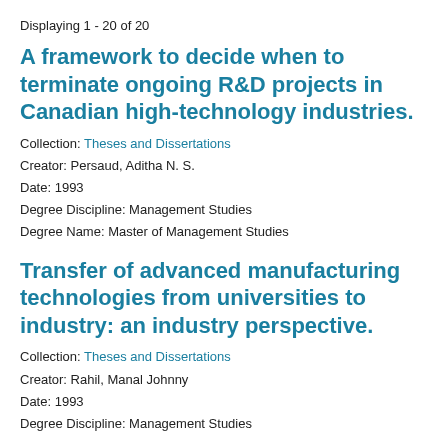Displaying 1 - 20 of 20
A framework to decide when to terminate ongoing R&D projects in Canadian high-technology industries.
Collection: Theses and Dissertations
Creator: Persaud, Aditha N. S.
Date: 1993
Degree Discipline: Management Studies
Degree Name: Master of Management Studies
Transfer of advanced manufacturing technologies from universities to industry: an industry perspective.
Collection: Theses and Dissertations
Creator: Rahil, Manal Johnny
Date: 1993
Degree Discipline: Management Studies